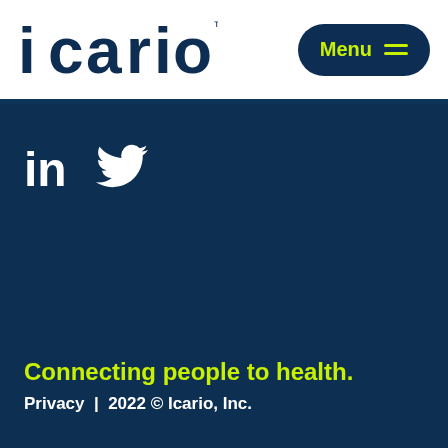Icario | Menu
[Figure (logo): Icario logo in dark navy blue bold text with a stylized letter 'a']
[Figure (illustration): LinkedIn 'in' icon and Twitter bird icon in white on dark navy background]
Connecting people to health.
Privacy | 2022 © Icario, Inc.